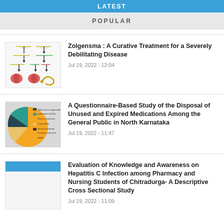LATEST
POPULAR
[Figure (illustration): Diagram showing genetic/molecular pathways with arrows and brain/neuron icons]
Zolgensma : A Curative Treatment for a Severely Debilitating Disease
Jul 19, 2022 - 12:04
[Figure (pie-chart): Pie chart with legend about disposal of medications]
A Questionnaire-Based Study of the Disposal of Unused and Expired Medications Among the General Public in North Karnataka
Jul 19, 2022 - 11:47
[Figure (illustration): Blue header bar image thumbnail for Hepatitis C article]
Evaluation of Knowledge and Awareness on Hepatitis C Infection among Pharmacy and Nursing Students of Chitradurga- A Descriptive Cross Sectional Study
Jul 19, 2022 - 11:09